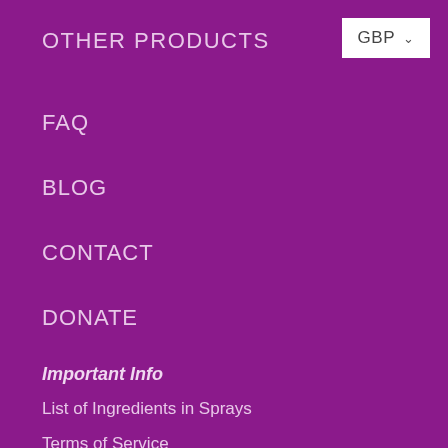OTHER PRODUCTS
GBP ˅
FAQ
BLOG
CONTACT
DONATE
Important Info
List of Ingredients in Sprays
Terms of Service